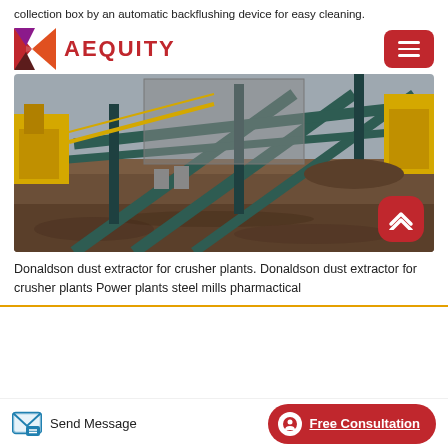collection box by an automatic backflushing device for easy cleaning.
[Figure (logo): Aequity logo with geometric red/purple diamond shape and red AEQUITY text]
[Figure (photo): Industrial crusher plant with green steel conveyor structures, yellow machinery, and dirt ground]
Donaldson dust extractor for crusher plants. Donaldson dust extractor for crusher plants Power plants steel mills pharmactical
Send Message
Free Consultation